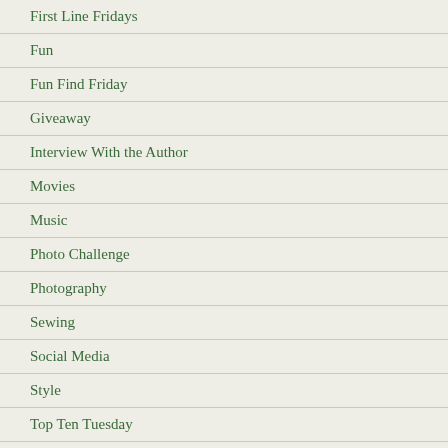First Line Fridays
Fun
Fun Find Friday
Giveaway
Interview With the Author
Movies
Music
Photo Challenge
Photography
Sewing
Social Media
Style
Top Ten Tuesday
Top Ten Tuesday
Uncategorized